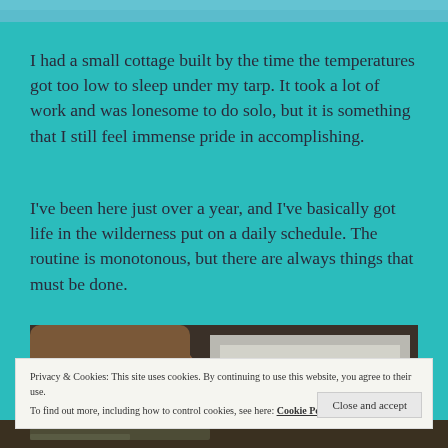[Figure (photo): Top image strip showing outdoor/nature scene in teal/blue tones]
I had a small cottage built by the time the temperatures got too low to sleep under my tarp. It took a lot of work and was lonesome to do solo, but it is something that I still feel immense pride in accomplishing.
I've been here just over a year, and I've basically got life in the wilderness put on a daily schedule. The routine is monotonous, but there are always things that must be done.
[Figure (photo): Close-up photo of a hand writing with a pen on paper, dark moody lighting]
Privacy & Cookies: This site uses cookies. By continuing to use this website, you agree to their use.
To find out more, including how to control cookies, see here: Cookie Policy
[Figure (photo): Bottom strip showing partial image of outdoor/wilderness scene]